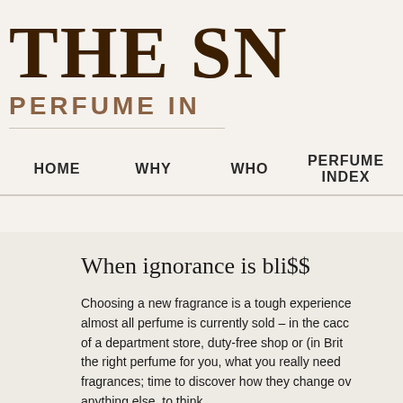THE SN
PERFUME IN
HOME  WHY  WHO  PERFUME INDEX
When ignorance is bli$$
Choosing a new fragrance is a tough experience almost all perfume is currently sold – in the cacc of a department store, duty-free shop or (in Brit the right perfume for you, what you really need fragrances; time to discover how they change ov anything else, to think.
That's hard enough when there's a salesgirl on c tried the new * * * * ?' and attempting to sprit